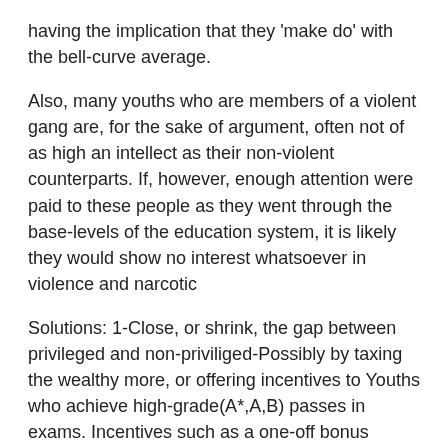having the implication that they 'make do' with the bell-curve average.
Also, many youths who are members of a violent gang are, for the sake of argument, often not of as high an intellect as their non-violent counterparts. If, however, enough attention were paid to these people as they went through the base-levels of the education system, it is likely they would show no interest whatsoever in violence and narcotic
Solutions: 1-Close, or shrink, the gap between privileged and non-priviliged-Possibly by taxing the wealthy more, or offering incentives to Youths who achieve high-grade(A*,A,B) passes in exams. Incentives such as a one-off bonus payment of around £1000. This would easily be recouped later through the higher rates of income tax they would pay, and would also encourage youths to put a lot of effort into their education.